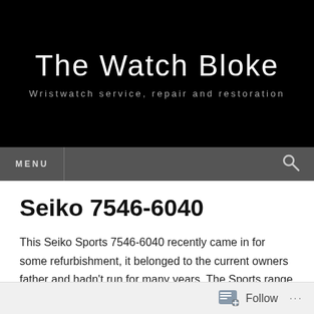The Watch Bloke
Wristwatch service, repair and restoration
MENU
Seiko 7546-6040
This Seiko Sports 7546-6040 recently came in for some refurbishment, it belonged to the current owners father and hadn't run for many years. The Sports range of Seikos look like dive watches but are only resistant to 100m and carry a different logo on the caseback...
Follow